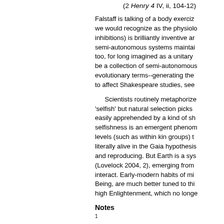(2 Henry 4 IV, ii, 104-12)
Falstaff is talking of a body exerciz... we would recognize as the physiolo... inhibitions) is brilliantly inventive ar... semi-autonomous systems maintai... too, for long imagined as a unitary ... be a collection of semi-autonomous... evolutionary terms--generating the... to affect Shakespeare studies, see
Scientists routinely metaphorize... 'selfish' but natural selection picks ... easily apprehended by a kind of sh... selfishness is an emergent phenom... levels (such as within kin groups) t... literally alive in the Gaia hypothesis... and reproducing. But Earth is a sys... (Lovelock 2004, 2), emerging from ... interact. Early-modern habits of mi... Being, are much better tuned to thi... high Enlightenment, which no longe
Notes
1